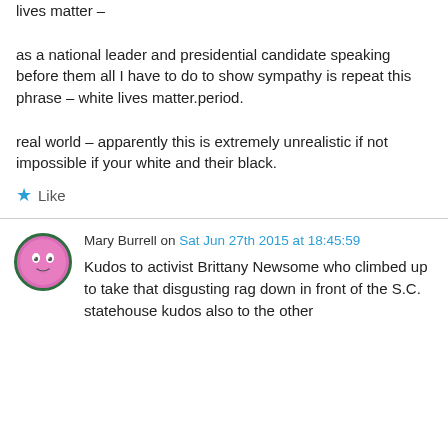lives matter –

as a national leader and presidential candidate speaking before them all I have to do to show sympathy is repeat this phrase – white lives matter.period.

real world – apparently this is extremely unrealistic if not impossible if your white and their black.
★ Like
Mary Burrell on Sat Jun 27th 2015 at 18:45:59
Kudos to activist Brittany Newsome who climbed up to take that disgusting rag down in front of the S.C. statehouse kudos also to the other